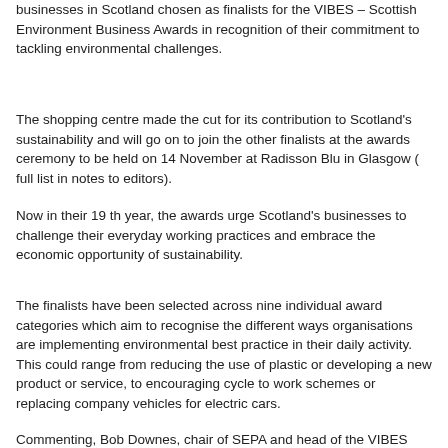businesses in Scotland chosen as finalists for the VIBES – Scottish Environment Business Awards in recognition of their commitment to tackling environmental challenges.
The shopping centre made the cut for its contribution to Scotland's sustainability and will go on to join the other finalists at the awards ceremony to be held on 14 November at Radisson Blu in Glasgow ( full list in notes to editors).
Now in their 19 th year, the awards urge Scotland's businesses to challenge their everyday working practices and embrace the economic opportunity of sustainability.
The finalists have been selected across nine individual award categories which aim to recognise the different ways organisations are implementing environmental best practice in their daily activity. This could range from reducing the use of plastic or developing a new product or service, to encouraging cycle to work schemes or replacing company vehicles for electric cars.
Sustainable best practice isn't just good for the environment but is also beneficial for business performance, with many of this year's entries reporting associated benefits including; enhanced competitiveness, a positive working culture and both environmental and financial savings.
Commenting, Bob Downes, chair of SEPA and head of the VIBES